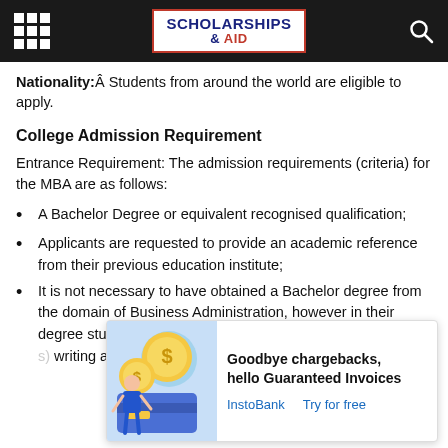SCHOLARSHIPS & AID
Nationality:Â Students from around the world are eligible to apply.
College Admission Requirement
Entrance Requirement: The admission requirements (criteria) for the MBA are as follows:
A Bachelor Degree or equivalent recognised qualification;
Applicants are requested to provide an academic reference from their previous education institute;
It is not necessary to have obtained a Bachelor degree from the domain of Business Administration, however in their degree stude... k (final proje... writing and r...
[Figure (illustration): Advertisement overlay: InstoBank ad with illustration of person with coins and a card. Text: Goodbye chargebacks, hello Guaranteed Invoices. Links: InstoBank, Try for free]
A minimu...